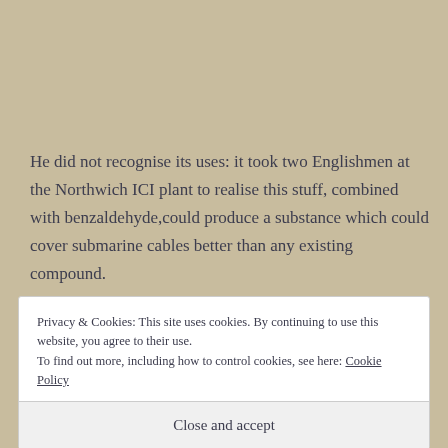He did not recognise its uses: it took two Englishmen at the Northwich ICI plant to realise this stuff, combined with benzaldehyde,could produce a substance which could cover submarine cables better than any existing compound.
Privacy & Cookies: This site uses cookies. By continuing to use this website, you agree to their use.
To find out more, including how to control cookies, see here: Cookie Policy
Close and accept